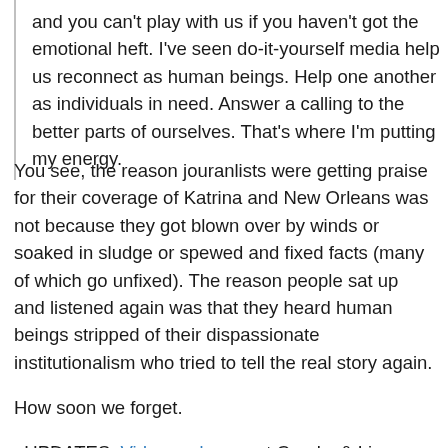and you can't play with us if you haven't got the emotional heft. I've seen do-it-yourself media help us reconnect as human beings. Help one another as individuals in need. Answer a calling to the better parts of ourselves. That's where I'm putting my energy.
You see, the reason jouranlists were getting praise for their coverage of Katrina and New Orleans was not because they got blown over by winds or soaked in sludge or spewed and fixed facts (many of which go unfixed). The reason people sat up and listened again was that they heard human beings stripped of their dispassionate institutionalism who tried to tell the real story again.
How soon we forget.
: UPDATES: Video and more at Crooks & Liars. Gandelman weighs in.